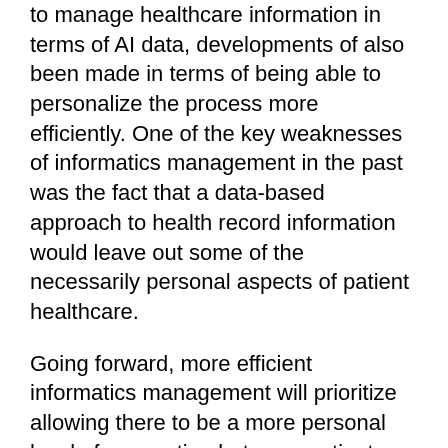to manage healthcare information in terms of AI data, developments of also been made in terms of being able to personalize the process more efficiently. One of the key weaknesses of informatics management in the past was the fact that a data-based approach to health record information would leave out some of the necessarily personal aspects of patient healthcare.
Going forward, more efficient informatics management will prioritize allowing there to be a more personal level of connection between patients and their providers, though effectively managing their data will remain a top priority.
Outcome-Based Initiatives